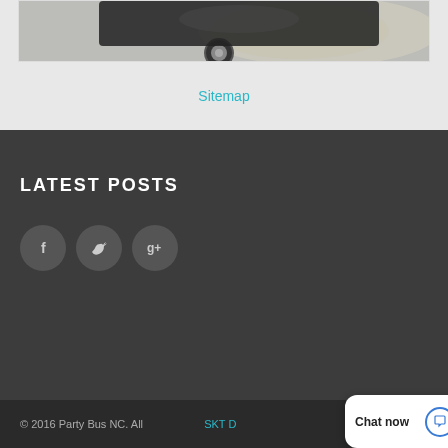[Figure (photo): Partial view of a vehicle (car/bus) on a decorative background, shown in a white card container]
Sitemap
LATEST POSTS
[Figure (infographic): Three social media icon circles: Facebook (f), Twitter (bird), Google+ (g+)]
© 2016 Party Bus NC. All rights reserved. SKT D...
Chat now